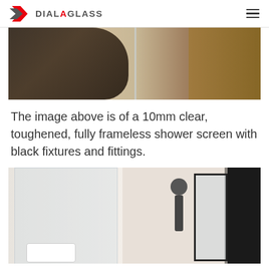DIAL A GLASS
[Figure (photo): Top partial view of a frameless glass shower screen with black fixtures, black bathtub, and wooden cabinetry on a beige tiled floor]
The image above is of a 10mm clear, toughened, fully frameless shower screen with black fixtures and fittings.
[Figure (photo): Bathroom interior showing frameless glass shower screens with black fixtures, a shower head and handheld shower on the wall, a mirror, and a black-framed window on the right]